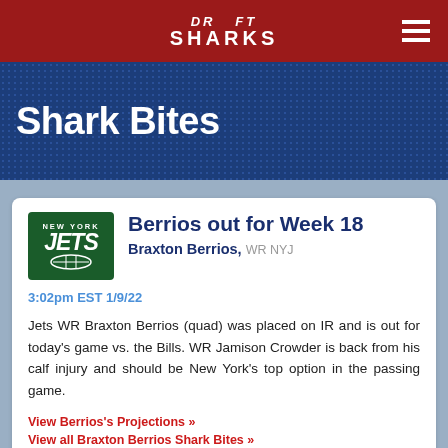DRAFT SHARKS
Shark Bites
Berrios out for Week 18
Braxton Berrios, WR NYJ
3:02pm EST 1/9/22
Jets WR Braxton Berrios (quad) was placed on IR and is out for today's game vs. the Bills. WR Jamison Crowder is back from his calf injury and should be New York's top option in the passing game.
View Berrios's Projections »   View all Braxton Berrios Shark Bites »